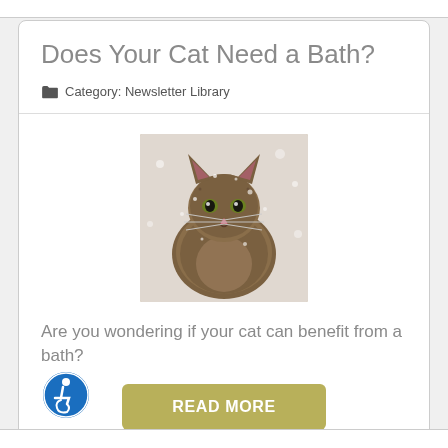Does Your Cat Need a Bath?
Category: Newsletter Library
[Figure (photo): A fluffy tabby cat with long fur, appearing wet or damp, photographed against a light background.]
Are you wondering if your cat can benefit from a bath?
READ MORE